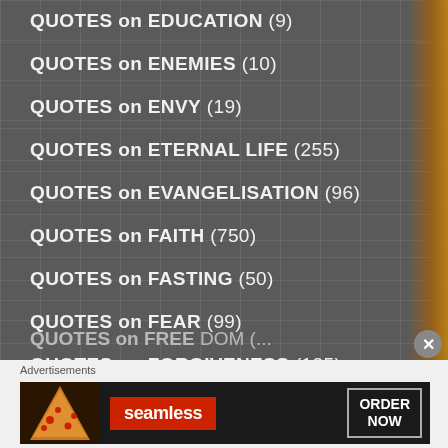QUOTES on EDUCATION (9)
QUOTES on ENEMIES (10)
QUOTES on ENVY (19)
QUOTES on ETERNAL LIFE (255)
QUOTES on EVANGELISATION (96)
QUOTES on FAITH (750)
QUOTES on FASTING (50)
QUOTES on FEAR (99)
QUOTES on FORGIVENESS (125)
QUOTES on FREE WILL (46)
Advertisements
[Figure (infographic): Seamless food ordering advertisement banner with pizza image, Seamless logo in red, and ORDER NOW button]